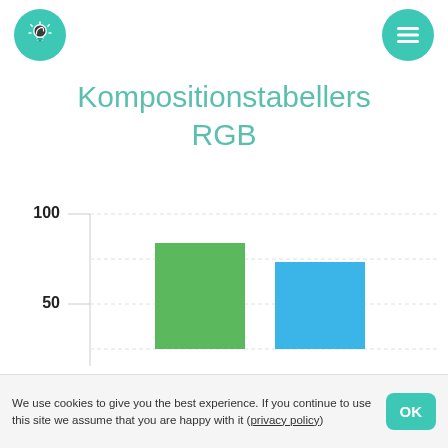[Figure (logo): Teal circle with lightbulb icon (top left)]
[Figure (logo): Teal circle with hamburger menu icon (top right)]
Kompositionstabellers RGB
[Figure (bar-chart): Kompositionstabellers RGB]
We use cookies to give you the best experience. If you continue to use this site we assume that you are happy with it (privacy policy)